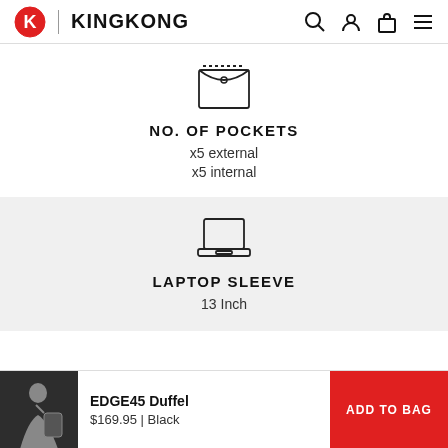KINGKONG
[Figure (illustration): Icon of a pocket/envelope shape with stitched border and circular clasp]
NO. OF POCKETS
x5 external
x5 internal
[Figure (illustration): Icon of an open laptop/notebook computer]
LAPTOP SLEEVE
13 Inch
[Figure (photo): Photo of a person carrying the EDGE45 Duffel bag in black]
EDGE45 Duffel
$169.95 | Black
ADD TO BAG